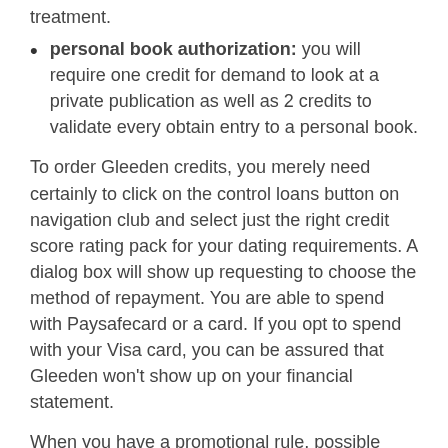treatment.
personal book authorization: you will require one credit for demand to look at a private publication as well as 2 credits to validate every obtain entry to a personal book.
To order Gleeden credits, you merely need certainly to click on the control loans button on navigation club and select just the right credit score rating pack for your dating requirements. A dialog box will show up requesting to choose the method of repayment. You are able to spend with Paysafecard or a card. If you opt to spend with your Visa card, you can be assured that Gleeden won't show up on your financial statement.
When you have a promotional rule, possible decrease the price or increase your credit. Gleeden has actually three forms of advertising rules. You'll be able to obtain